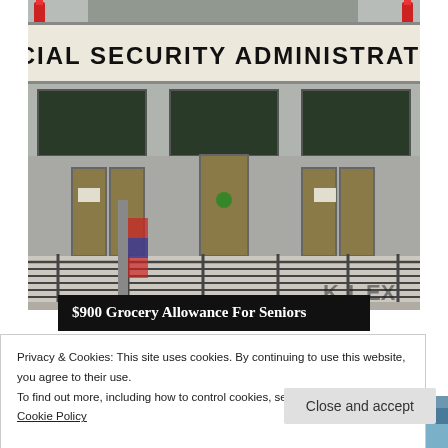[Figure (photo): Photograph of the exterior of a Social Security Administration building, showing the sign, entrance with glass doors, metal railings, and bollards]
$900 Grocery Allowance For Seniors
Privacy & Cookies: This site uses cookies. By continuing to use this website, you agree to their use.
To find out more, including how to control cookies, see here: Cookie Policy
Close and accept
[Figure (photo): Two thumbnail images at the bottom of the page]